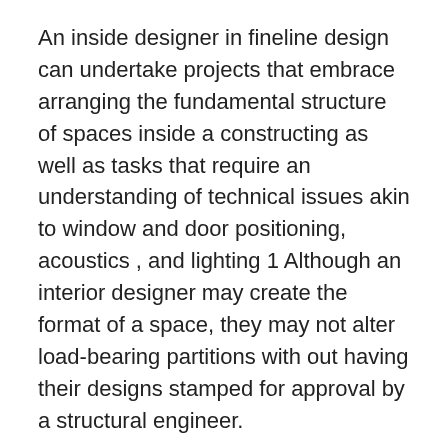An inside designer in fineline design can undertake projects that embrace arranging the fundamental structure of spaces inside a constructing as well as tasks that require an understanding of technical issues akin to window and door positioning, acoustics , and lighting 1 Although an interior designer may create the format of a space, they may not alter load-bearing partitions with out having their designs stamped for approval by a structural engineer.
When you’re already blessed with a different array of distinct furnishings and admire the concept of fantastically rendered juxtapositions, this may increasingly simply be the proper interior design kinds front room to contemplate. Cylindo is a 3D inside design software program that provides a free demo which is aimed at...